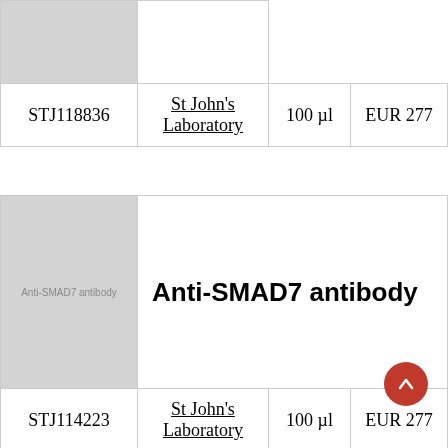| Image |  |
| --- | --- |
|  |  |
| Catalog | Supplier | Size | Price |
| --- | --- | --- | --- |
| STJ118836 | St John's Laboratory | 100 µl | EUR 277 |
| Image | Title |
| --- | --- |
| Anti-SMAD7 antibody image | Anti-SMAD7 antibody |
| Catalog | Supplier | Size | Price |
| --- | --- | --- | --- |
| STJ114223 | St John's Laboratory | 100 µl | EUR 277 |
Description: The protein encoded by this gene is a nuclear protein that binds the E3 ubiquitin ligase SMURF2. Upon binding, this complex translocates to the cytoplasm, where it interacts with TGF-β receptor type-1 (TGFBR1), leading to the degradation